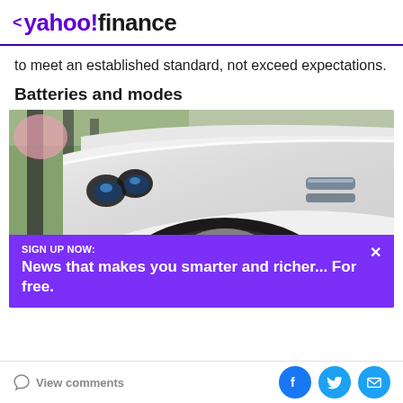< yahoo!finance
to meet an established standard, not exceed expectations.
Batteries and modes
[Figure (photo): Close-up photograph of a white luxury car (appears to be a Bentley), showing the front fender, headlights, wheel with multi-spoke alloy rim, and chrome vents on the fender. Background shows trees and greenery.]
SIGN UP NOW:
News that makes you smarter and richer... For free.
View comments